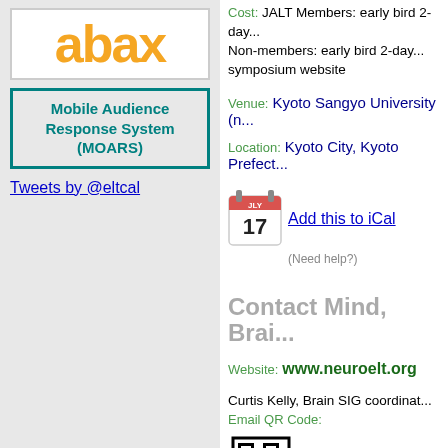[Figure (logo): abax logo in orange bold text on white background]
Mobile Audience Response System (MOARS)
Tweets by @eltcal
Cost: JALT Members: early bird 2-day... Non-members: early bird 2-day... symposium website
Venue: Kyoto Sangyo University (n...
Location: Kyoto City, Kyoto Prefect...
[Figure (illustration): iCal calendar icon showing date 17]
Add this to iCal
(Need help?)
Contact Mind, Brai...
Website: www.neuroelt.org
Curtis Kelly, Brain SIG coordinat...
Email QR Code:
[Figure (other): QR code for email]